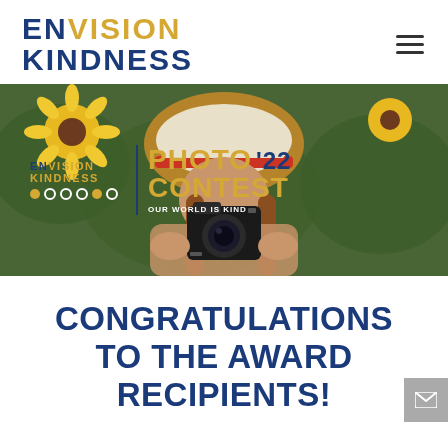ENVISION KINDNESS
[Figure (photo): Hero banner image showing a woman in a straw hat with red brim holding a camera in a sunflower field, with 'Envision Kindness Photo '22 Contest – Our World is Kind' overlay text]
CONGRATULATIONS TO THE AWARD RECIPIENTS!